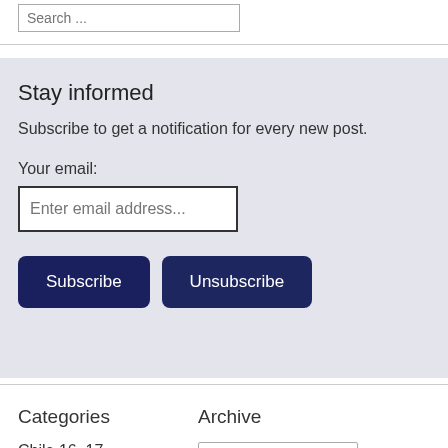Search ...
Stay informed
Subscribe to get a notification for every new post.
Your email:
Enter email address...
Subscribe
Unsubscribe
Categories
Archive
Chile 16–17
Select Month